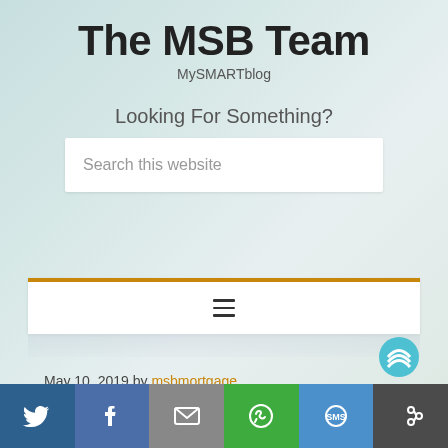The MSB Team
MySMARTblog
Looking For Something?
Search this website
[Figure (screenshot): Navigation hamburger menu bar with orange top border]
May 10, 2019 by msbmortgage
[Figure (infographic): Social share bar with Twitter, Facebook, Email, WhatsApp, SMS, and Share buttons]